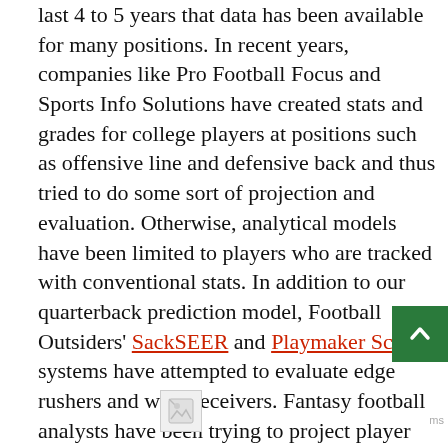last 4 to 5 years that data has been available for many positions. In recent years, companies like Pro Football Focus and Sports Info Solutions have created stats and grades for college players at positions such as offensive line and defensive back and thus tried to do some sort of projection and evaluation. Otherwise, analytical models have been limited to players who are tracked with conventional stats. In addition to our quarterback prediction model, Football Outsiders' SackSEER and Playmaker Score systems have attempted to evaluate edge rushers and wide receivers. Fantasy football analysts have been trying to project player performances for years, especially those who are trying to get a leg up on drafting the best rookies
[Figure (other): Broken image placeholder at bottom of page]